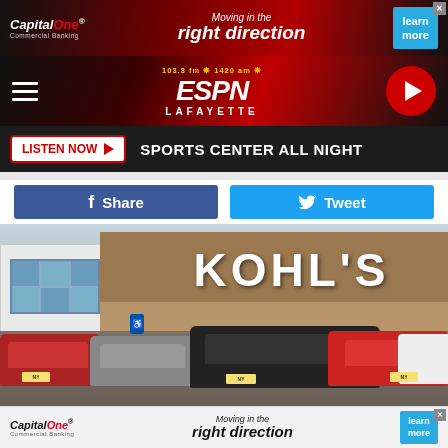[Figure (screenshot): Capital One Commercial Banking advertisement banner: 'Moving in the right direction' with learn more button]
[Figure (screenshot): ESPN Lafayette 103.3 FM / 1420 AM radio station header with hamburger menu and play button]
LISTEN NOW  SPORTS CENTER ALL NIGHT
[Figure (screenshot): Facebook Share and Twitter Tweet social sharing buttons]
[Figure (photo): Exterior photo of a Kohl's retail store with parking lot and cars in foreground]
[Figure (screenshot): Capital One Commercial Banking advertisement banner (bottom): 'Moving in the right direction' with learn more button]